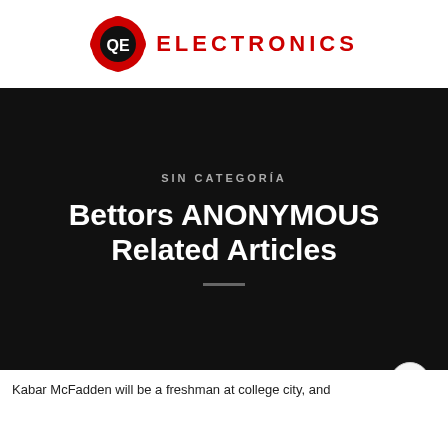[Figure (logo): QE Electronics logo: red circular gear/shield icon with QE letters in white, followed by ELECTRONICS text in red capitals]
SIN CATEGORÍA
Bettors ANONYMOUS Related Articles
Kabar McFadden will be a freshman at college city, and